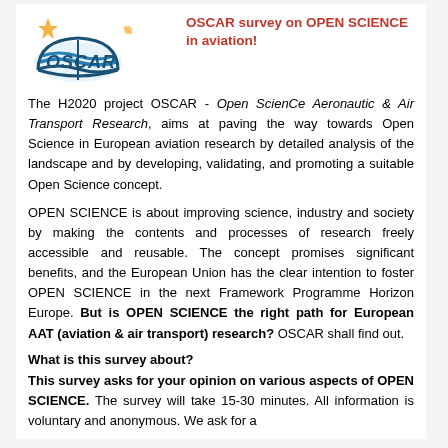[Figure (logo): OSCAR project logo with stylized book and bird/star icon]
OSCAR survey on OPEN SCIENCE in aviation!
The H2020 project OSCAR - Open ScienCe Aeronautic & Air Transport Research, aims at paving the way towards Open Science in European aviation research by detailed analysis of the landscape and by developing, validating, and promoting a suitable Open Science concept.
OPEN SCIENCE is about improving science, industry and society by making the contents and processes of research freely accessible and reusable. The concept promises significant benefits, and the European Union has the clear intention to foster OPEN SCIENCE in the next Framework Programme Horizon Europe. But is OPEN SCIENCE the right path for European AAT (aviation & air transport) research? OSCAR shall find out.
What is this survey about?
This survey asks for your opinion on various aspects of OPEN SCIENCE. The survey will take 15-30 minutes. All information is voluntary and anonymous. We ask for a